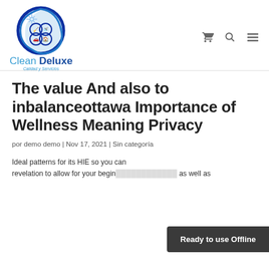[Figure (logo): Clean Deluxe company logo — circular emblem with blue wave and star design, icons of cleaning equipment inside circles, text 'Clean Deluxe' and tagline 'Calidad y Servicios']
The value And also to inbalanceottawa Importance of Wellness Meaning Privacy
por demo demo | Nov 17, 2021 | Sin categoría
Ideal patterns for its HIE so you ca... revelation to allow for your begin... as well as...